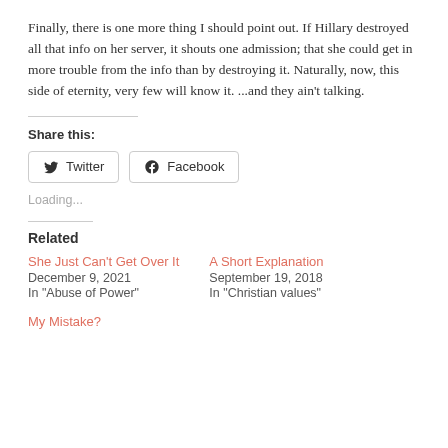Finally, there is one more thing I should point out.  If Hillary destroyed all that info on her server, it shouts one admission; that she could get in more trouble from the info than by destroying it.  Naturally, now, this side of eternity, very few will know it.  ...and they ain't talking.
Share this:
Twitter  Facebook
Loading...
Related
She Just Can't Get Over It
December 9, 2021
In "Abuse of Power"
A Short Explanation
September 19, 2018
In "Christian values"
My Mistake?